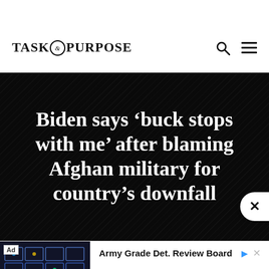TASK & PURPOSE
Biden says ‘buck stops with me’ after blaming Afghan military for country’s downfall
[Figure (screenshot): Advertisement for Army Grade Det. Review Board from goreckilaw.com, showing an image of electronic equipment/circuit boards stacked, with Ad label, play button icon, and Visit Site link]